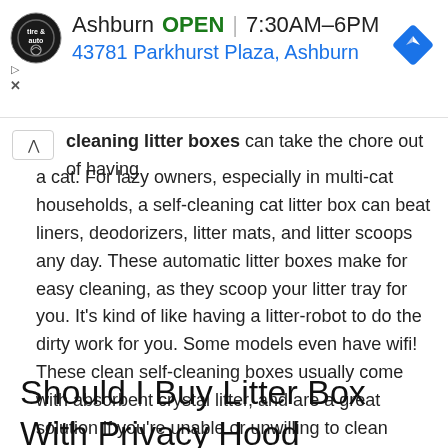[Figure (other): Advertisement banner for Virginia Tire & Auto, Ashburn location. Shows circular logo with 'tire & auto' text, store name 'Ashburn', OPEN status, hours '7:30AM–6PM', address '43781 Parkhurst Plaza, Ashburn', and a blue diamond navigation icon.]
cleaning litter boxes can take the chore out of having a cat. For lazy owners, especially in multi-cat households, a self-cleaning cat litter box can beat liners, deodorizers, litter mats, and litter scoops any day. These automatic litter boxes make for easy cleaning, as they scoop your litter tray for you. It's kind of like having a litter-robot to do the dirty work for you. Some models even have wifi! These clean self-cleaning boxes usually come with absorbent crystal litter, and are a great solution if you're unable or unwilling to clean kitty's box more often.
Should I Buy Litter Box With Privacy Hood